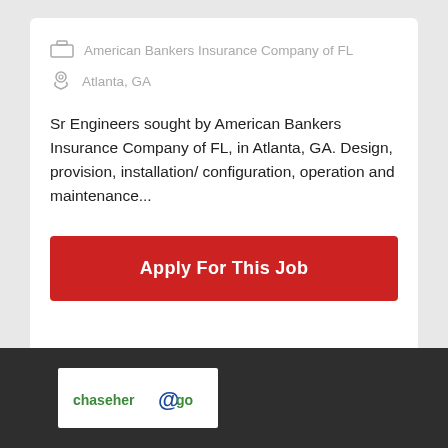American Bankers Insurance Company of FL
Atlanta, GA
Sr Engineers sought by American Bankers Insurance Company of FL, in Atlanta, GA. Design, provision, installation/ configuration, operation and maintenance...
Apply For This Job
[Figure (logo): chaseherogo logo with @ symbol in blue/green colors on white background]